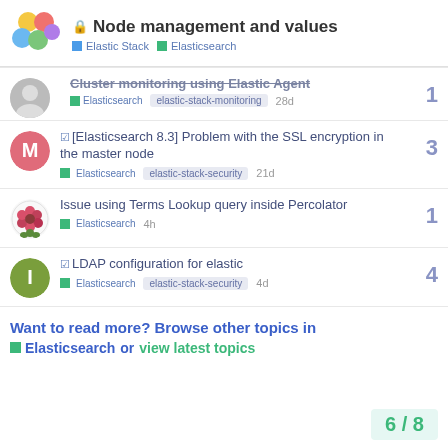Node management and values — Elastic Stack | Elasticsearch
Cluster monitoring using Elastic Agent — Elasticsearch, elastic-stack-monitoring — 28d — replies: 1
[Elasticsearch 8.3] Problem with the SSL encryption in the master node — Elasticsearch, elastic-stack-security — 21d — replies: 3
Issue using Terms Lookup query inside Percolator — Elasticsearch — 4h — replies: 1
LDAP configuration for elastic — Elasticsearch, elastic-stack-security — 4d — replies: 4
Want to read more? Browse other topics in Elasticsearch or view latest topics
6 / 8